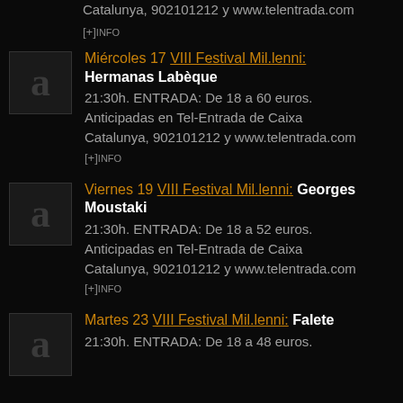Catalunya, 902101212 y www.telentrada.com
[+]INFO
Miércoles 17 VIII Festival Mil.lenni: Hermanas Labèque
21:30h. ENTRADA: De 18 a 60 euros. Anticipadas en Tel-Entrada de Caixa Catalunya, 902101212 y www.telentrada.com
[+]INFO
Viernes 19 VIII Festival Mil.lenni: Georges Moustaki
21:30h. ENTRADA: De 18 a 52 euros. Anticipadas en Tel-Entrada de Caixa Catalunya, 902101212 y www.telentrada.com
[+]INFO
Martes 23 VIII Festival Mil.lenni: Falete
21:30h. ENTRADA: De 18 a 48 euros.